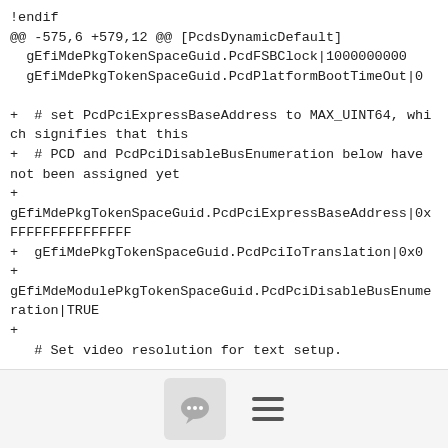!endif
@@ -575,6 +579,12 @@ [PcdsDynamicDefault]
  gEfiMdePkgTokenSpaceGuid.PcdFSBClock|1000000000
  gEfiMdePkgTokenSpaceGuid.PcdPlatformBootTimeOut|0

+  # set PcdPciExpressBaseAddress to MAX_UINT64, which signifies that this
+  # PCD and PcdPciDisableBusEnumeration below have not been assigned yet
+
gEfiMdePkgTokenSpaceGuid.PcdPciExpressBaseAddress|0xFFFFFFFFFFFFFFF
+  gEfiMdePkgTokenSpaceGuid.PcdPciIoTranslation|0x0
+
gEfiMdeModulePkgTokenSpaceGuid.PcdPciDisableBusEnumeration|TRUE
+
   # Set video resolution for text setup.
[Figure (other): Footer bar with chat bubble icon button and hamburger menu icon]